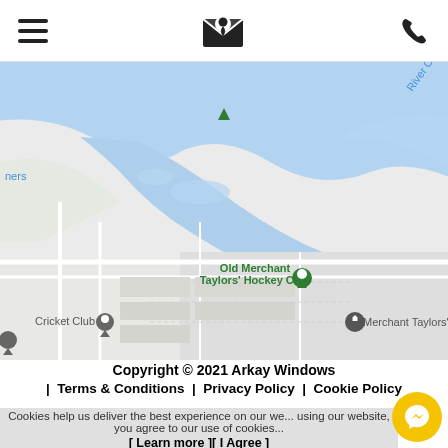Navigation header with hamburger menu, logo/email icon, and phone icon
[Figure (map): Google Maps screenshot showing River Colne area with Old Merchant Taylors' Hockey Club pin (green), Cricket Club pin (grey), and Merchant Taylors' School pin (grey). Blue water area visible.]
Copyright © 2021 Arkay Windows
| Terms & Conditions | Privacy Policy | Cookie Policy
Cookies help us deliver the best experience on our we... using our website, you agree to our use of cookies...
[ Learn more ][ I Agree ]